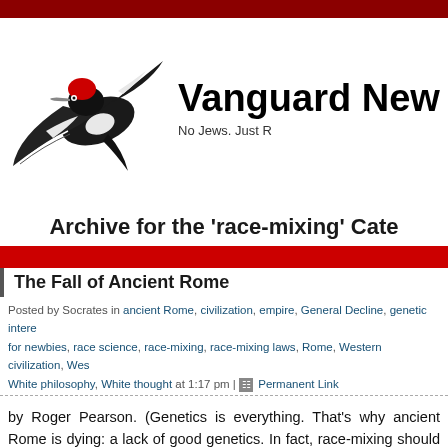[Figure (illustration): Red-headed woodpecker bird illustration with wings spread, black and white body with red head]
Vanguard New
No Jews. Just R
Archive for the 'race-mixing' Cate
The Fall of Ancient Rome
Posted by Socrates in ancient Rome, civilization, empire, General Decline, genetic intere... for newbies, race science, race-mixing, race-mixing laws, Rome, Western civilization, Wes... White philosophy, White thought at 1:17 pm | Permanent Link
by Roger Pearson. (Genetics is everything. That's why ancient Rome is dying: a lack of good genetics. In fact, race-mixing should be a world, and it would be except that our “leaders” are corrupt idiots who right thing). “What causes the fall of […]